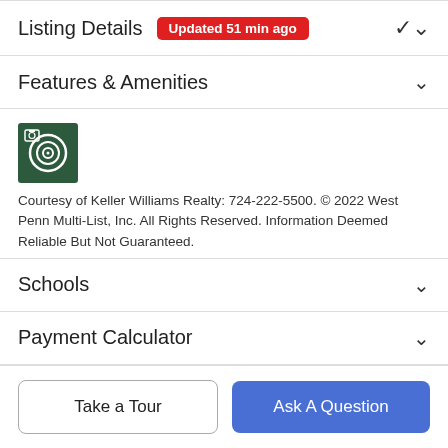Listing Details Updated 51 min ago
Features & Amenities
[Figure (logo): Keller Williams / West Penn Multi-List logo icon — dark green square with circular target graphic]
Courtesy of Keller Williams Realty: 724-222-5500. © 2022 West Penn Multi-List, Inc. All Rights Reserved. Information Deemed Reliable But Not Guaranteed.
Schools
Payment Calculator
Take a Tour
Ask A Question